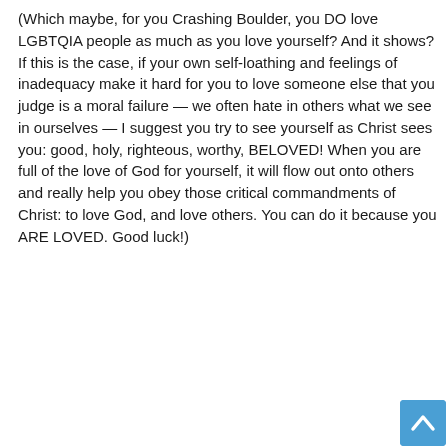(Which maybe, for you Crashing Boulder, you DO love LGBTQIA people as much as you love yourself? And it shows? If this is the case, if your own self-loathing and feelings of inadequacy make it hard for you to love someone else that you judge is a moral failure — we often hate in others what we see in ourselves — I suggest you try to see yourself as Christ sees you: good, holy, righteous, worthy, BELOVED! When you are full of the love of God for yourself, it will flow out onto others and really help you obey those critical commandments of Christ: to love God, and love others. You can do it because you ARE LOVED. Good luck!)
Log in to leave a comment
suz  June 8, 2021 at 1:18 pm
May I, Crashing Boulder?...let me take a look at your deduction here...it's usually–yep! here you